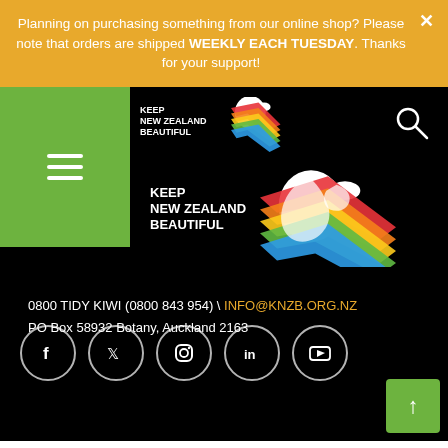Planning on purchasing something from our online shop? Please note that orders are shipped WEEKLY EACH TUESDAY. Thanks for your support!
[Figure (logo): Keep New Zealand Beautiful logo – white kiwi bird silhouette with rainbow chevron stripes, repeated twice at different sizes on black background]
0800 TIDY KIWI (0800 843 954) \ INFO@KNZB.ORG.NZ
PO Box 58932 Botany, Auckland 2163
[Figure (other): Social media icons: Facebook, Twitter, Instagram, LinkedIn, YouTube in white circles]